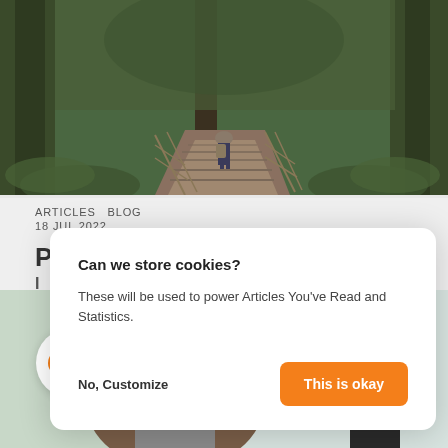[Figure (photo): Person walking on a wooden boardwalk path through a dense redwood forest, surrounded by large tree trunks and lush green ferns]
ARTICLES   BLOG
18 JUL 2022
P...nd
I...
R...
Can we store cookies?
These will be used to power Articles You've Read and Statistics.
No, Customize   This is okay
[Figure (photo): Back of a person's head with brown hair, out-of-focus background with green and light tones, holding a device]
[Figure (illustration): Orange toggle switch in the ON position inside a white circle]